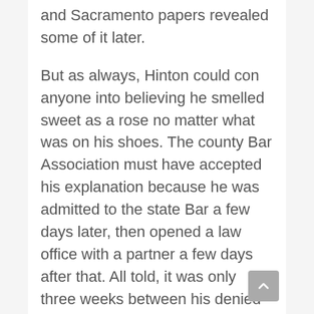and Sacramento papers revealed some of it later.
But as always, Hinton could con anyone into believing he smelled sweet as a rose no matter what was on his shoes. The county Bar Association must have accepted his explanation because he was admitted to the state Bar a few days later, then opened a law office with a partner a few days after that. All told, it was only three weeks between his denied petition and having his name on the door as Santa Rosa's newest attorney at law.
Without deep plowing through court